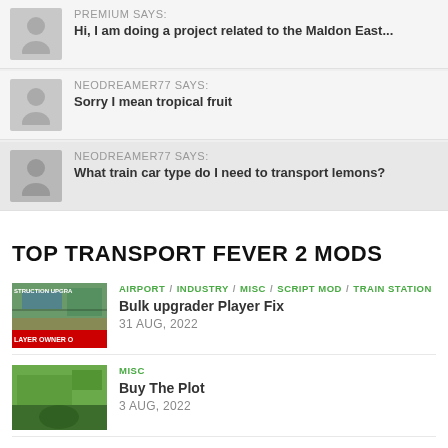PREMIUM SAYS: Hi, I am doing a project related to the Maldon East...
NEODREAMER77 SAYS: Sorry I mean tropical fruit
NEODREAMER77 SAYS: What train car type do I need to transport lemons?
TOP TRANSPORT FEVER 2 MODS
[Figure (photo): Thumbnail showing Transport Fever 2 mod - Bulk upgrader Player Fix with red LAYER OWNER overlay]
AIRPORT / INDUSTRY / MISC / SCRIPT MOD / TRAIN STATION
Bulk upgrader Player Fix
31 AUG, 2022
[Figure (photo): Thumbnail showing a green field/plot area screenshot from Transport Fever 2 - Buy The Plot mod]
MISC
Buy The Plot
3 AUG, 2022